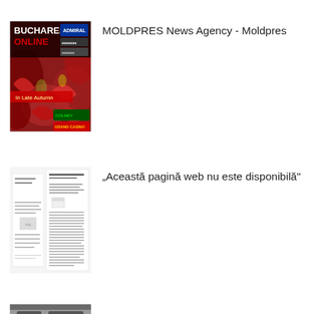[Figure (screenshot): Thumbnail of Bucharest online magazine cover showing autumn red foliage with title 'BUCHAREST ONLINE In Late Autumn' and sponsor logos]
MOLDPRES News Agency - Moldpres
[Figure (screenshot): Thumbnail of a document/webpage with dense text content, partially visible]
„Această pagină web nu este disponibilă”
[Figure (photo): Partially visible thumbnail at bottom of page, appears to show a vehicle or mechanical image]